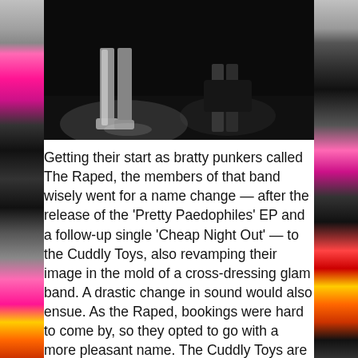[Figure (photo): Black and white photograph showing legs/lower body of performers on a stage, dark moody lighting]
Getting their start as bratty punkers called The Raped, the members of that band wisely went for a name change — after the release of the 'Pretty Paedophiles' EP and a follow-up single 'Cheap Night Out' — to the Cuddly Toys, also revamping their image in the mold of a cross-dressing glam band. A drastic change in sound would also ensue. As the Raped, bookings were hard to come by, so they opted to go with a more pleasant name. The Cuddly Toys are probably best known for releasing a single of 'Madman', a song written by David Bowie and Marc Bolan days prior to Bolan's death. Two albums were released prior to their breakup 'Guillotine Theatre' and 'Trial And Crosses'